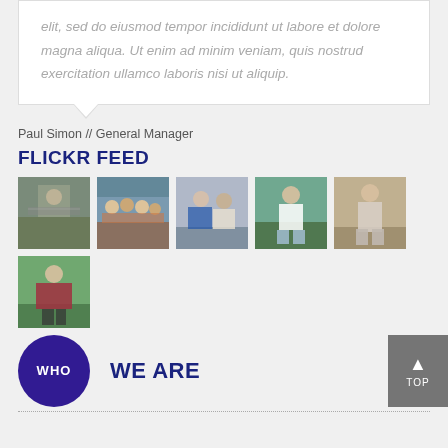elit, sed do eiusmod tempor incididunt ut labore et dolore magna aliqua. Ut enim ad minim veniam, quis nostrud exercitation ullamco laboris nisi ut aliquip.
Paul Simon // General Manager
FLICKR FEED
[Figure (photo): Six outdoor photos in a grid: person with arms spread, group of children, two people interacting, man standing, man standing outdoors, person in colorful garment]
WHO
WE ARE